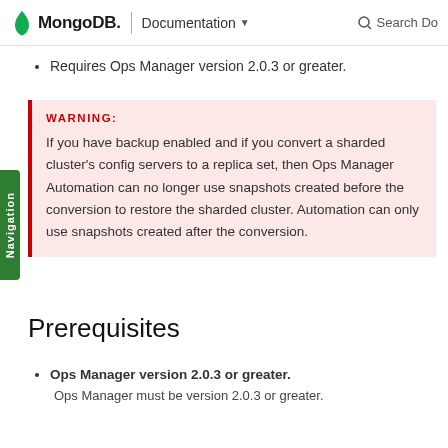MongoDB. | Documentation   Search Do
Requires Ops Manager version 2.0.3 or greater.
WARNING: If you have backup enabled and if you convert a sharded cluster's config servers to a replica set, then Ops Manager Automation can no longer use snapshots created before the conversion to restore the sharded cluster. Automation can only use snapshots created after the conversion.
Prerequisites
Ops Manager version 2.0.3 or greater. Ops Manager must be version 2.0.3 or greater.